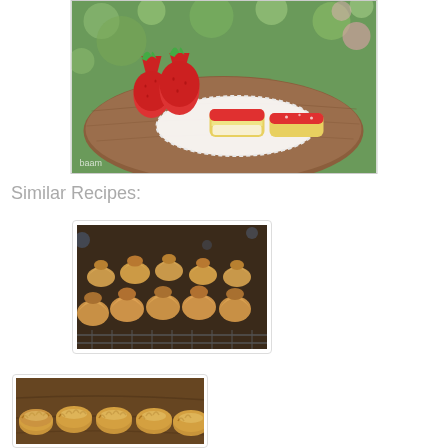[Figure (photo): Food photo showing strawberries and pastries with pink/red icing on a doily and wooden board, with green bokeh background. Watermark 'baam' in lower left.]
Similar Recipes:
[Figure (photo): Close-up photo of many small golden-brown baked pastry puffs arranged in rows on a cooling rack.]
[Figure (photo): Photo of golden-brown baked pastries/cookies with ridged tops on a dark wooden surface.]